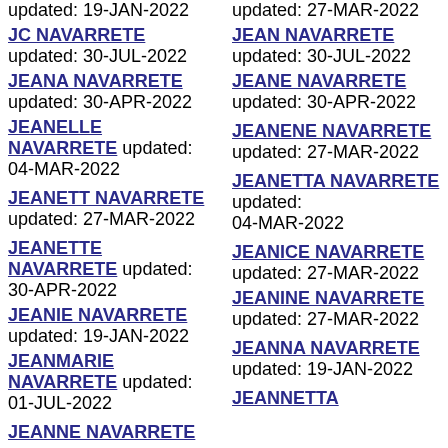updated: 19-JAN-2022
updated: 27-MAR-2022
JC NAVARRETE updated: 30-JUL-2022
JEAN NAVARRETE updated: 30-JUL-2022
JEANA NAVARRETE updated: 30-APR-2022
JEANE NAVARRETE updated: 30-APR-2022
JEANELLE NAVARRETE updated: 04-MAR-2022
JEANENE NAVARRETE updated: 27-MAR-2022
JEANETT NAVARRETE updated: 27-MAR-2022
JEANETTA NAVARRETE updated: 04-MAR-2022
JEANETTE NAVARRETE updated: 30-APR-2022
JEANICE NAVARRETE updated: 27-MAR-2022
JEANIE NAVARRETE updated: 19-JAN-2022
JEANINE NAVARRETE updated: 27-MAR-2022
JEANMARIE NAVARRETE updated: 01-JUL-2022
JEANNA NAVARRETE updated: 19-JAN-2022
JEANNE NAVARRETE
JEANNETTA